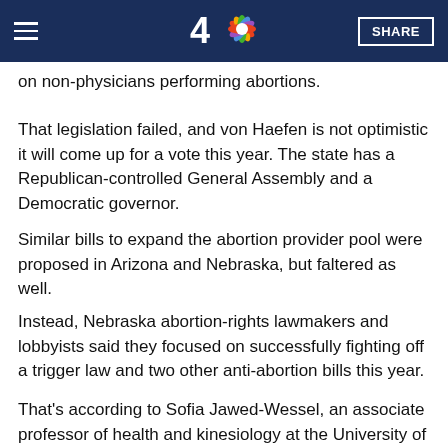NBC 4 navigation bar with hamburger menu, logo, and SHARE button
on non-physicians performing abortions.
That legislation failed, and von Haefen is not optimistic it will come up for a vote this year. The state has a Republican-controlled General Assembly and a Democratic governor.
Similar bills to expand the abortion provider pool were proposed in Arizona and Nebraska, but faltered as well.
Instead, Nebraska abortion-rights lawmakers and lobbyists said they focused on successfully fighting off a trigger law and two other anti-abortion bills this year.
That's according to Sofia Jawed-Wessel, an associate professor of health and kinesiology at the University of